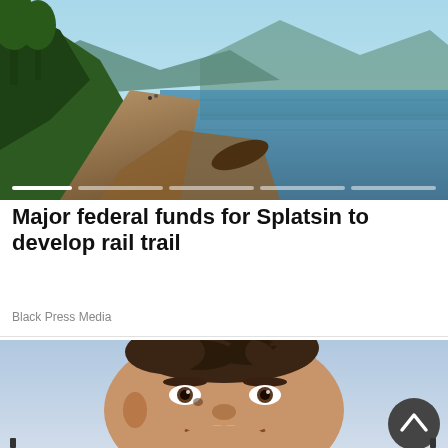[Figure (photo): Scenic rail trail path beside a calm reflective lake surrounded by forested mountains, with people visible in the distance on the trail. Image carousel with slider dots at the bottom.]
Major federal funds for Splatsin to develop rail trail
Black Press Media
[Figure (photo): Close-up portrait of a young man with dark tousled hair, smiling broadly, appearing to be outdoors with a cloudy sky behind him. A dark circular back-to-top button is visible in the lower right corner.]